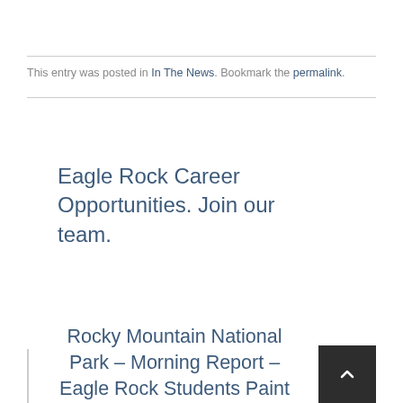This entry was posted in In The News. Bookmark the permalink.
Eagle Rock Career Opportunities. Join our team.
Rocky Mountain National Park – Morning Report – Eagle Rock Students Paint a Mural in the Alpine Hotshot Dorm for Art Class!